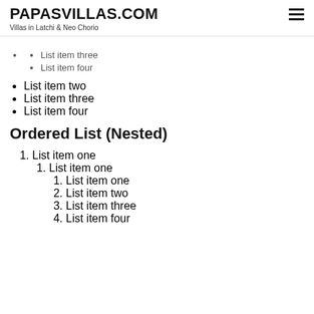PAPASVILLAS.COM
Villas in Latchi & Neo Chorio
List item three
List item four
List item two
List item three
List item four
Ordered List (Nested)
1. List item one
1. List item one
1. List item one
2. List item two
3. List item three
4. List item four